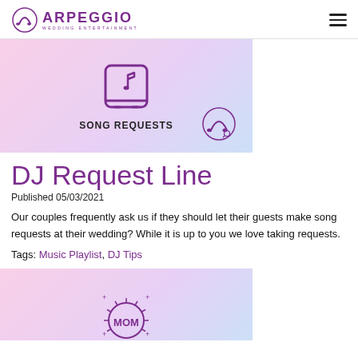ARPEGGIO WEDDING ENTERTAINMENT
[Figure (illustration): Hero banner image with gradient pink-purple-blue background, music player icon with musical note, text 'SONG REQUESTS', and Arpeggio logo watermark]
DJ Request Line
Published 05/03/2021
Our couples frequently ask us if they should let their guests make song requests at their wedding? While it is up to you we love taking requests.
Tags: Music Playlist, DJ Tips
[Figure (illustration): Second hero banner with gradient pink-purple-blue background, partially visible MOM badge/icon at bottom]